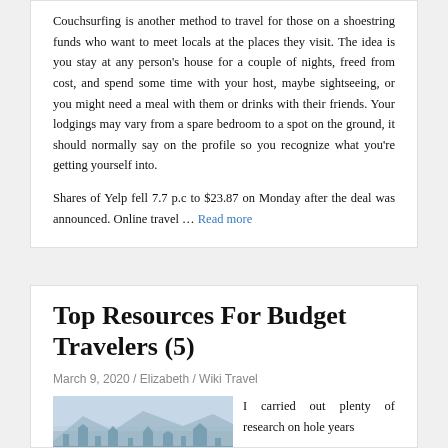Couchsurfing is another method to travel for those on a shoestring funds who want to meet locals at the places they visit. The idea is you stay at any person's house for a couple of nights, freed from cost, and spend some time with your host, maybe sightseeing, or you might need a meal with them or drinks with their friends. Your lodgings may vary from a spare bedroom to a spot on the ground, it should normally say on the profile so you recognize what you're getting yourself into.
Shares of Yelp fell 7.7 p.c to $23.87 on Monday after the deal was announced. Online travel … Read more
Top Resources For Budget Travelers (5)
March 9, 2020 / Elizabeth / Wiki Travel
[Figure (photo): A hazy cityscape/skyline photograph with mountains or hills in the background, misty blue-grey tones]
I carried out plenty of research on hole years